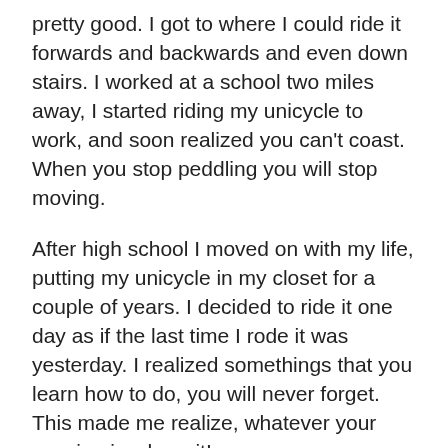pretty good. I got to where I could ride it forwards and backwards and even down stairs. I worked at a school two miles away, I started riding my unicycle to work, and soon realized you can't coast. When you stop peddling you will stop moving.
After high school I moved on with my life, putting my unicycle in my closet for a couple of years. I decided to ride it one day as if the last time I rode it was yesterday. I realized somethings that you learn how to do, you will never forget. This made me realize, whatever your passion is, share it!
I now work as a custodian in an elementary school. I have enjoyed riding my unicycle in school Halloween parades, assemblies and neighborhood 4th of July parades. I let one of my neighborhood kids borrow my unicycle, he got pretty good. This year he received a wonderful surprise for Christmas, a unicycle! Pay it forward, share your passion.